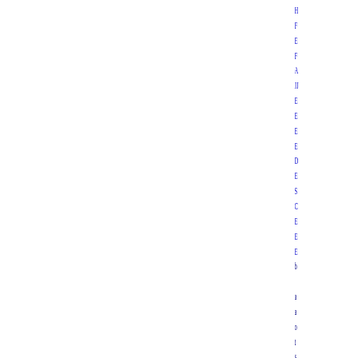H
F
E
F
A
JJ
E
E
E
E
D
E
S
C
E
E
E
b
a
a
o
t
s
f
p
E
E
E